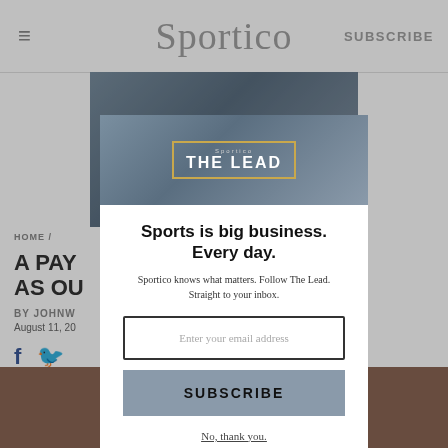≡  Sportico  SUBSCRIBE
[Figure (screenshot): Sportico 'The Lead' newsletter banner image with dark sporty background]
HOME /
A PAY… NOT AS OU… DS
BY JOHNW
August 11, 20
[Figure (screenshot): Email subscription modal popup: 'Sports is big business. Every day.' with Sportico The Lead banner, email input, SUBSCRIBE button, and 'No, thank you.' link]
No, thank you.